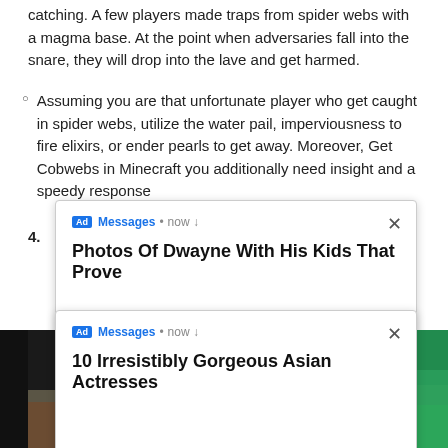catching. A few players made traps from spider webs with a magma base. At the point when adversaries fall into the snare, they will drop into the lave and get harmed.
Assuming you are that unfortunate player who get caught in spider webs, utilize the water pail, imperviousness to fire elixirs, or ender pearls to get away. Moreover, Get Cobwebs in Minecraft you additionally need insight and a speedy response
4.
[Figure (screenshot): Ad popup: Messages • now | Photos Of Dwayne With His Kids That Prove]
[Figure (screenshot): Ad popup: Messages • now | 10 Irresistibly Gorgeous Asian Actresses]
[Figure (photo): Minecraft game screenshot background]